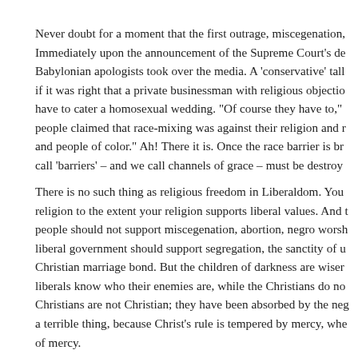Never doubt for a moment that the first outrage, miscegenation, Immediately upon the announcement of the Supreme Court's de Babylonian apologists took over the media. A 'conservative' tall if it was right that a private businessman with religious objectio have to cater a homosexual wedding. "Of course they have to," people claimed that race-mixing was against their religion and r and people of color." Ah! There it is. Once the race barrier is br call 'barriers' – and we call channels of grace – must be destroy
There is no such thing as religious freedom in Liberaldom. You religion to the extent your religion supports liberal values. And t people should not support miscegenation, abortion, negro worsh liberal government should support segregation, the sanctity of u Christian marriage bond. But the children of darkness are wiser liberals know who their enemies are, while the Christians do no Christians are not Christian; they have been absorbed by the neg a terrible thing, because Christ's rule is tempered by mercy, whe of mercy.